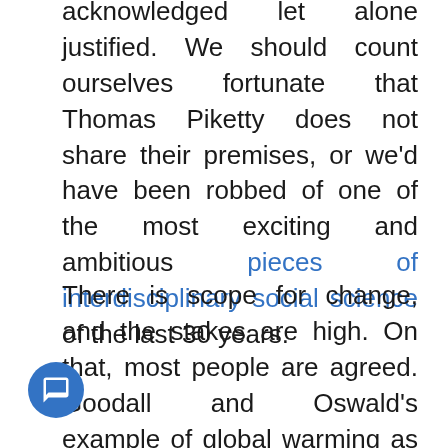acknowledged let alone justified. We should count ourselves fortunate that Thomas Piketty does not share their premises, or we'd have been robbed of one of the most exciting and ambitious pieces of interdisciplinary social science of the last 30 years.
There is scope for change, and the stakes are high. On that, most people are agreed. Goodall and Oswald's example of global warming as a challenge to the social sciences is a compelling one. But it is surely an even greater challenge to our political institutions. Political scientists and anthropologists could therefore collaborate to